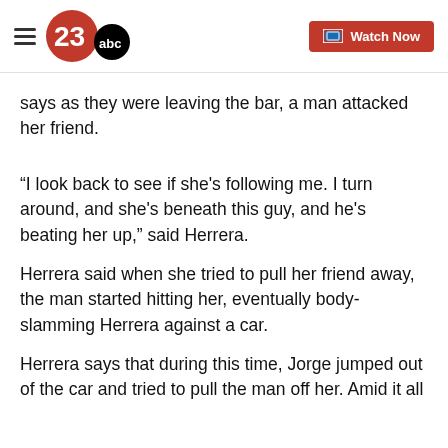23ABC | Watch Now
says as they were leaving the bar, a man attacked her friend.
“I look back to see if she's following me. I turn around, and she's beneath this guy, and he's beating her up,” said Herrera.
Herrera said when she tried to pull her friend away, the man started hitting her, eventually body-slamming Herrera against a car.
Herrera says that during this time, Jorge jumped out of the car and tried to pull the man off her. Amid it all